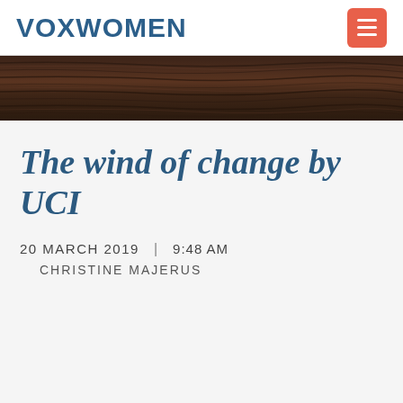VOXWOMEN
[Figure (photo): Dark wood grain texture banner image]
The wind of change by UCI
20 MARCH 2019   |   9:48 AM
CHRISTINE MAJERUS